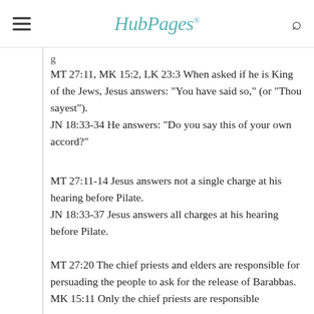HubPages
g
MT 27:11, MK 15:2, LK 23:3 When asked if he is King of the Jews, Jesus answers: "You have said so," (or "Thou sayest").
JN 18:33-34 He answers: "Do you say this of your own accord?"
MT 27:11-14 Jesus answers not a single charge at his hearing before Pilate.
JN 18:33-37 Jesus answers all charges at his hearing before Pilate.
MT 27:20 The chief priests and elders are responsible for persuading the people to ask for the release of Barabbas.
MK 15:11 Only the chief priests are responsible